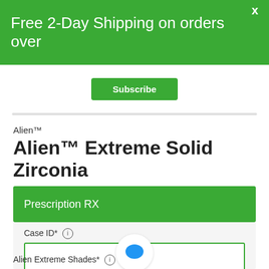Free 2-Day Shipping on orders over
Subscribe
Alien™
Alien™ Extreme Solid Zirconia
Prescription RX
Case ID*
Alien Extreme Shades*